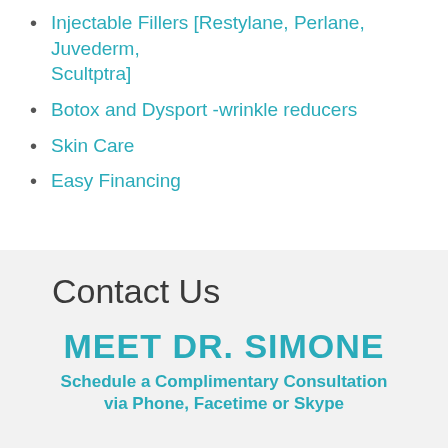Injectable Fillers [Restylane, Perlane, Juvederm, Scultptra]
Botox and Dysport -wrinkle reducers
Skin Care
Easy Financing
Contact Us
MEET DR. SIMONE
Schedule a Complimentary Consultation via Phone, Facetime or Skype